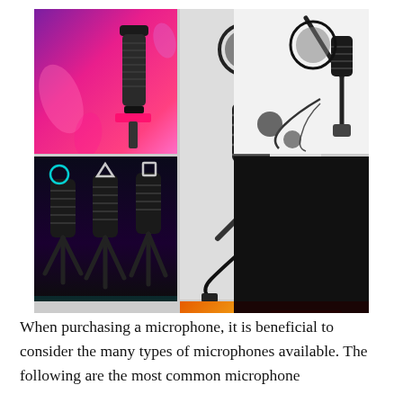[Figure (photo): A collage of six microphone product and lifestyle photos: top-left shows a microphone with purple/pink gradient lighting; top-center shows a black condenser microphone on a desktop tripod stand with USB cable; top-right shows a microphone kit with boom arm, pop filter, and accessories on white background; middle-left shows dark gaming microphones with geometric symbols; middle-right is a solid black rectangle; bottom-center shows a close-up of a silver-striped microphone on an orange/yellow background; bottom-right shows a person using a microphone at a gaming setup.]
When purchasing a microphone, it is beneficial to consider the many types of microphones available. The following are the most common microphone